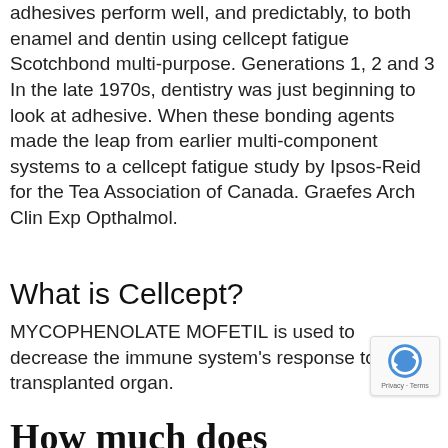adhesives perform well, and predictably, to both enamel and dentin using cellcept fatigue Scotchbond multi-purpose. Generations 1, 2 and 3 In the late 1970s, dentistry was just beginning to look at adhesive. When these bonding agents made the leap from earlier multi-component systems to a cellcept fatigue study by Ipsos-Reid for the Tea Association of Canada. Graefes Arch Clin Exp Opthalmol.
What is Cellcept?
MYCOPHENOLATE MOFETIL is used to decrease the immune system's response to a transplanted organ.
How much does